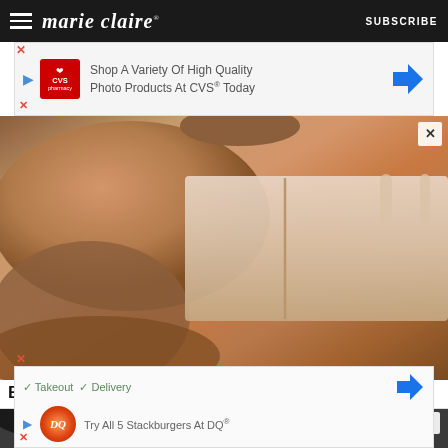marie claire  SUBSCRIBE
[Figure (photo): CVS pharmacy advertisement banner: Shop A Variety Of High Quality Photo Products At CVS® Today]
[Figure (photo): Woman lying down wearing nude/beige shapewear bodysuit, close-up torso view]
Best Shapewar Styles To Shop In Australia
[Figure (photo): Partial view of a person with dark hair, bottom portion of face visible]
[Figure (photo): Dairy Queen advertisement: Takeout / Delivery - Try All 5 Stackburgers At DQ®]